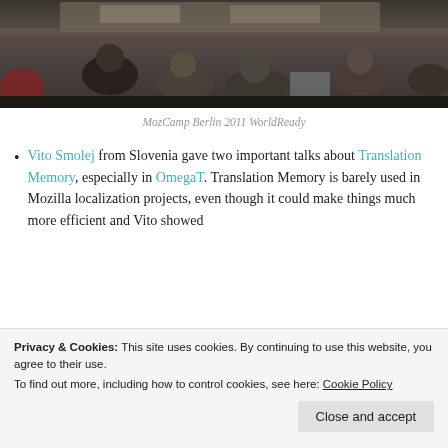[Figure (photo): Photograph of people sitting in a room at MozCamp Berlin 2011, viewed from behind, at tables with laptops and equipment, dark ambient lighting.]
MozCamp Berlin 2011 WorldReady
Vito Smolej from Slovenia gave two important talks about Translation Memory, especially in OmegaT. Translation Memory is barely used in Mozilla localization projects, even though it could make things much more efficient and Vito showed
Privacy & Cookies: This site uses cookies. By continuing to use this website, you agree to their use. To find out more, including how to control cookies, see here: Cookie Policy
Close and accept